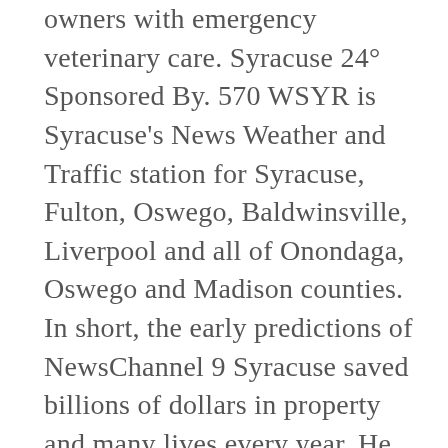owners with emergency veterinary care. Syracuse 24° Sponsored By. 570 WSYR is Syracuse's News Weather and Traffic station for Syracuse, Fulton, Oswego, Baldwinsville, Liverpool and all of Onondaga, Oswego and Madison counties. In short, the early predictions of NewsChannel 9 Syracuse saved billions of dollars in property and many lives every year. He joined the news channel almost thirty-five years ago. View the updated news stories 24/7 to see what's happening now in Central New York. Dan Cummings is co-anchoring The Morning News every day and every week on Newsmakers with Dan Cummings. 25-year-duo Rod Wood and Carrie Lazarus inaugurated into the New York State Broadcasters Association Hall of Fame on 27th June 2011. Likewise, he honoured to receive two Syracuse Press Club's Professional Standards Award alongside many other awards. 440